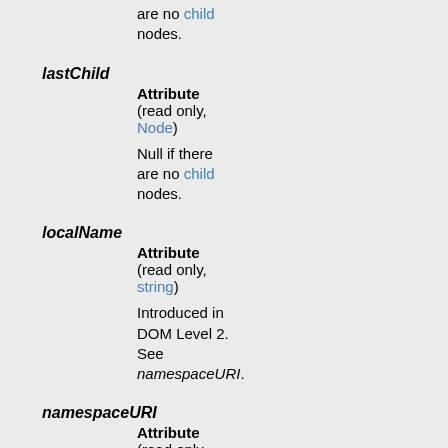are no child nodes.
lastChild
Attribute
(read only, Node)
Null if there are no child nodes.
localName
Attribute
(read only, string)
Introduced in DOM Level 2. See namespaceURI.
namespaceURI
Attribute
(read only, string)
Introduced in DOM Level 2. Null if there is no namespace specified. The value is the